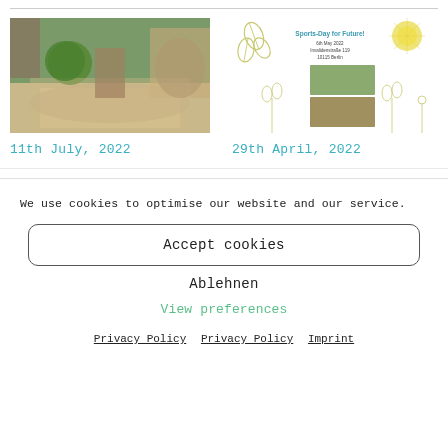[Figure (photo): Children playing in a classroom/kindergarten setting with a green exercise ball and wooden materials on the floor, with an adult supervising]
[Figure (illustration): A flyer for 'Sports-Day for Future' event on 6th May 2022, Invalidenstraße 119, 10115 Berlin, with decorative leaf and flower illustrations and photos of children]
11th July, 2022
29th April, 2022
We use cookies to optimise our website and our service.
Accept cookies
Ablehnen
View preferences
Privacy Policy   Privacy Policy   Imprint